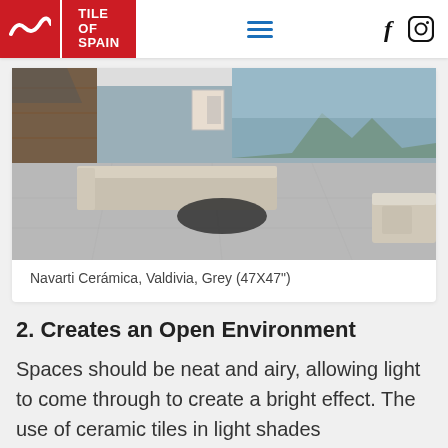Tile of Spain
[Figure (photo): Interior living room with grey ceramic floor tiles, large windows with mountain view, modern sofa and coffee table.]
Navarti Cerámica, Valdivia, Grey (47X47")
2. Creates an Open Environment
Spaces should be neat and airy, allowing light to come through to create a bright effect. The use of ceramic tiles in light shades